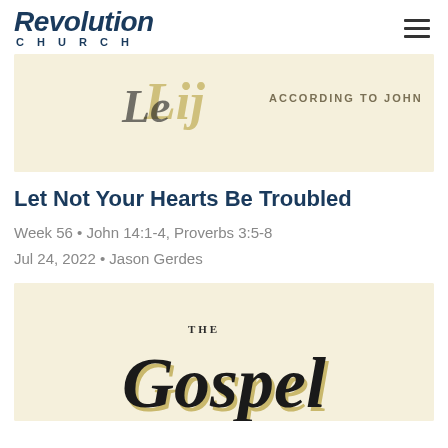Revolution Church
[Figure (illustration): Partial view of a sermon series graphic with cream/beige background and text reading 'ACCORDING TO JOHN' with decorative script lettering]
Let Not Your Hearts Be Troubled
Week 56 • John 14:1-4, Proverbs 3:5-8
Jul 24, 2022 • Jason Gerdes
[Figure (illustration): Partial view of a sermon series graphic with cream/beige background showing 'The Gospel' in decorative script with gold/black lettering]